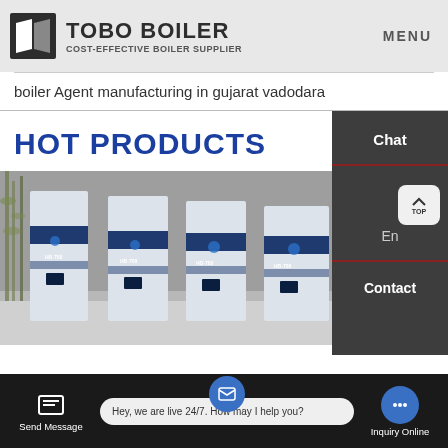TOBO BOILER — COST-EFFECTIVE BOILER SUPPLIER | MENU
boiler Agent manufacturing in gujarat vadodara
HOT PRODUCTS
[Figure (photo): Multiple industrial blue and white boiler units (models HB-700 etc.) displayed in a row against a grey background with bamboo plants on the left.]
Chat
En
Contact
Send Message
Hey, we are live 24/7. How may I help you?
Inquiry Online